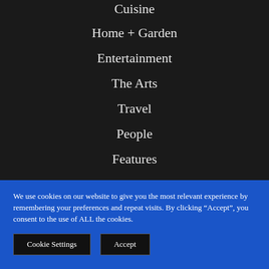Cuisine
Home + Garden
Entertainment
The Arts
Travel
People
Features
Style
Weddings
We use cookies on our website to give you the most relevant experience by remembering your preferences and repeat visits. By clicking “Accept”, you consent to the use of ALL the cookies.
Cookie Settings | Accept